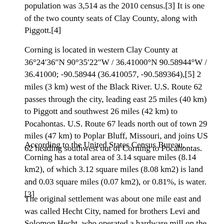population was 3,514 as the 2010 census.[3] It is one of the two county seats of Clay County, along with Piggott.[4]
Corning is located in western Clay County at 36°24′36″N 90°35′22″W / 36.41000°N 90.58944°W / 36.41000; -90.58944 (36.410057, -90.589364),[5] 2 miles (3 km) west of the Black River. U.S. Route 62 passes through the city, leading east 25 miles (40 km) to Piggott and southwest 26 miles (42 km) to Pocahontas. U.S. Route 67 leads north out of town 29 miles (47 km) to Poplar Bluff, Missouri, and joins US 62 heading southwest out of Corning to Pocahontas.
According to the United States Census Bureau, Corning has a total area of 3.14 square miles (8.14 km2), of which 3.12 square miles (8.08 km2) is land and 0.03 square miles (0.07 km2), or 0.81%, is water.[3]
The original settlement was about one mile east and was called Hecht City, named for brothers Levi and Solomon Hecht, who operated a hardware mill on the Black River. Hecht...